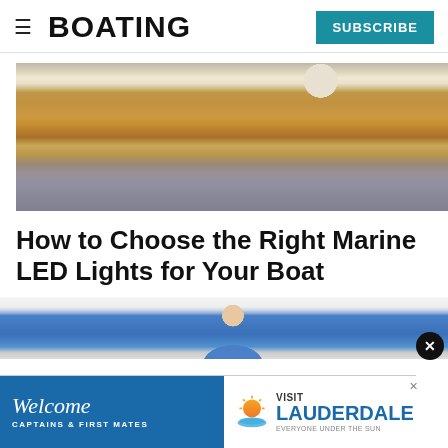BOATING | SUBSCRIBE
[Figure (photo): Interior of a boat cabin showing warm amber LED strip lighting along the ceiling and wall, wood-toned surfaces, a porthole window, and blue-grey upholstered seating]
How to Choose the Right Marine LED Lights for Your Boat
[Figure (photo): Partial view of a person wearing a blue polo shirt, cropped at chest level]
[Figure (infographic): Advertisement banner: Welcome Captains & First Mates | Visit Lauderdale – Everyone Under the Sun]